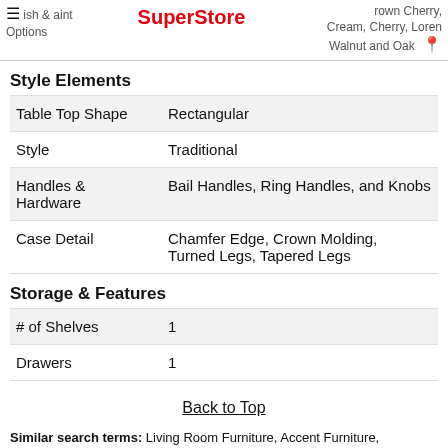SuperStore | ish & aint Options | Brown Cherry, Cream, Cherry, Loren Walnut and Oak
Style Elements
|  |  |
| --- | --- |
| Table Top Shape | Rectangular |
| Style | Traditional |
| Handles & Hardware | Bail Handles, Ring Handles, and Knobs |
| Case Detail | Chamfer Edge, Crown Molding, Turned Legs, Tapered Legs |
Storage & Features
|  |  |
| --- | --- |
| # of Shelves | 1 |
| Drawers | 1 |
Back to Top
Similar search terms: Living Room Furniture, Accent Furniture, Occasional Furniture, Cabinet, Cabinet Tables, Storage Tables,